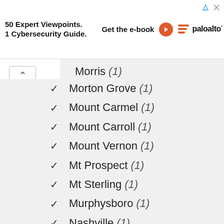[Figure (screenshot): Advertisement banner: '50 Expert Viewpoints. 1 Cybersecurity Guide.' with 'Get the e-book' CTA and Palo Alto Networks logo]
Morris (1)
Morton Grove (1)
Mount Carmel (1)
Mount Carroll (1)
Mount Vernon (1)
Mt Prospect (1)
Mt Sterling (1)
Murphysboro (1)
Nashville (1)
Newton (1)
North Chicago (1)
Oak Lawn (1)
Oak Park (1)